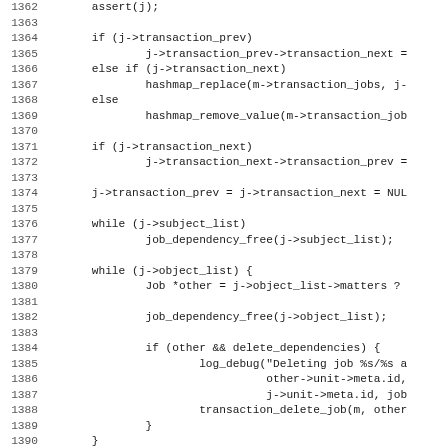[Figure (other): Source code listing in C, lines 1362-1394, showing transaction job management logic including linked list manipulation, subject/object list iteration, and function signature for transaction_add_job_and_dependencies]